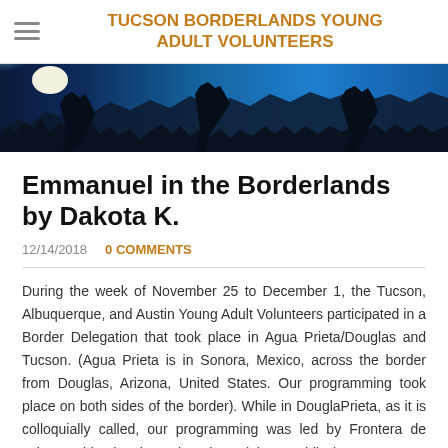TUCSON BORDERLANDS YOUNG ADULT VOLUNTEERS
[Figure (photo): Panoramic landscape photo of rocky desert terrain with blue sky, silhouetted rock formations, and bright sunlight on the left side.]
Emmanuel in the Borderlands by Dakota K.
12/14/2018   0 COMMENTS
During the week of November 25 to December 1, the Tucson, Albuquerque, and Austin Young Adult Volunteers participated in a Border Delegation that took place in Agua Prieta/Douglas and Tucson. (Agua Prieta is in Sonora, Mexico, across the border from Douglas, Arizona, United States. Our programming took place on both sides of the border). While in DouglaPrieta, as it is colloquially called, our programming was led by Frontera de Cristo, a binational Presbyterian ministry. While in Tucson, our site coordinator, Alison Wood, and the Albuquerque site